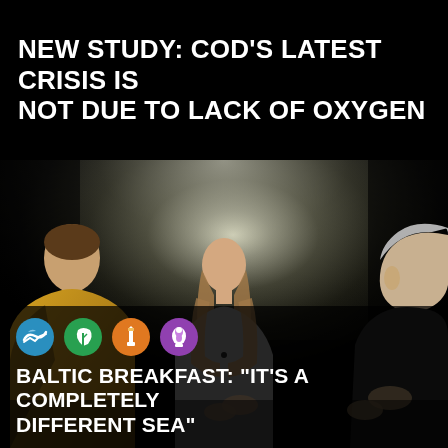NEW STUDY: COD'S LATEST CRISIS IS NOT DUE TO LACK OF OXYGEN
[Figure (photo): Three people in a dark studio setting: a person on the left wearing a yellow/mustard jacket, a woman with long brown hair in the center, and a man on the right with grey hair in profile, appearing to gesture with his hands. Soft spotlight illuminates the background.]
BALTIC BREAKFAST: "IT'S A COMPLETELY DIFFERENT SEA"